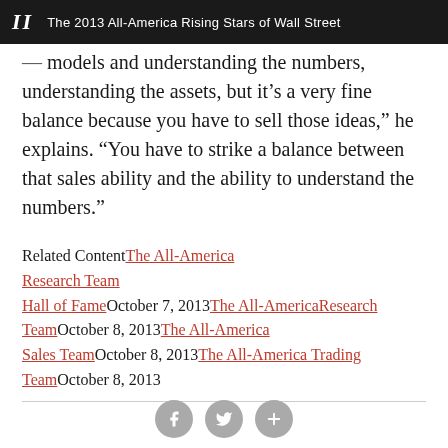II   The 2013 All-America Rising Stars of Wall Street
models and understanding the numbers, understanding the assets, but it’s a very fine balance because you have to sell those ideas,” he explains. “You have to strike a balance between that sales ability and the ability to understand the numbers.”
Related ContentThe All-America Research Team
Hall of FameOctober 7, 2013The All-AmericaResearch TeamOctober 8, 2013The All-America Sales TeamOctober 8, 2013The All-America Trading TeamOctober 8, 2013